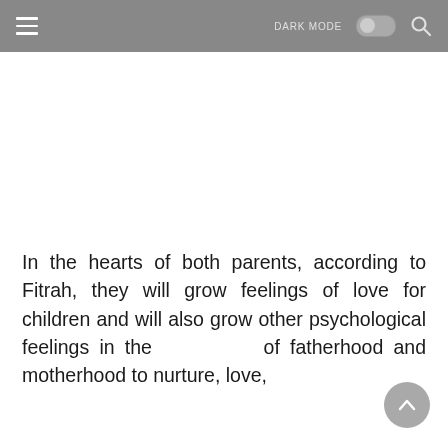≡   DARK MODE  🔍
In the hearts of both parents, according to Fitrah, they will grow feelings of love for children and will also grow other psychological feelings in the of fatherhood and motherhood to nurture, love,